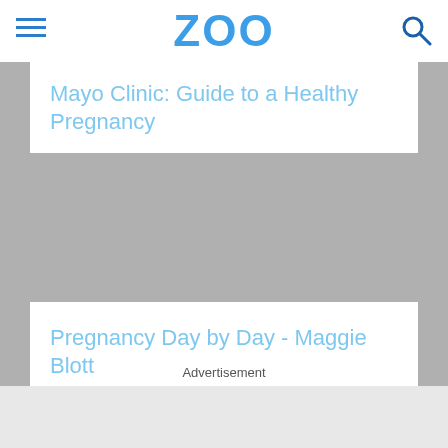ZOO
Mayo Clinic: Guide to a Healthy Pregnancy
Pregnancy Day by Day - Maggie Blott
Strong as a Mother - Kate Rope
Pregnancy, O.M.G.! - Nancy Redd
Advertisement